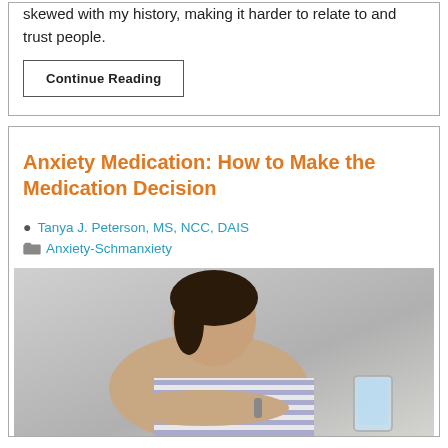skewed with my history, making it harder to relate to and trust people.
Continue Reading
Anxiety Medication: How to Make the Medication Decision
Tanya J. Peterson, MS, NCC, DAIS
Anxiety-Schmanxiety
[Figure (photo): A young woman resting her head on her arms, looking down at a glass of water on a table, suggesting anxiety or depression.]